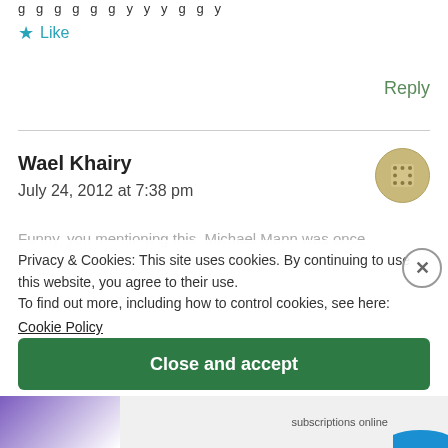g g g g g g y y y g g y
★ Like
Reply
Wael Khairy
July 24, 2012 at 7:38 pm
Funny, you mentioning this. Michael Mann was once trying to adapt "No Beast So Fierce" but the project fell off.
Privacy & Cookies: This site uses cookies. By continuing to use this website, you agree to their use.
To find out more, including how to control cookies, see here:
Cookie Policy
I always wanted to visit Sicily.
Close and accept